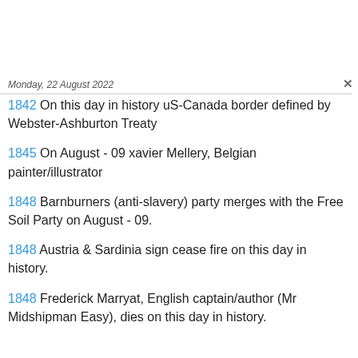Monday, 22 August 2022
1842  On this day in history uS-Canada border defined by Webster-Ashburton Treaty
1845  On August - 09 xavier Mellery, Belgian painter/illustrator
1848  Barnburners (anti-slavery) party merges with the Free Soil Party on August - 09.
1848  Austria & Sardinia sign cease fire on this day in history.
1848  Frederick Marryat, English captain/author (Mr Midshipman Easy), dies on this day in history.